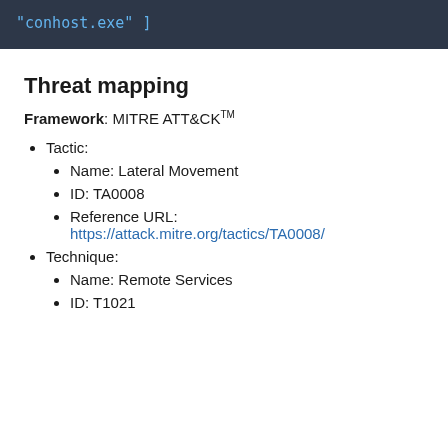[Figure (screenshot): Dark code block showing: "conhost.exe" ]]
Threat mapping
Framework: MITRE ATT&CK™
Tactic:
Name: Lateral Movement
ID: TA0008
Reference URL: https://attack.mitre.org/tactics/TA0008/
Technique:
Name: Remote Services
ID: T1021